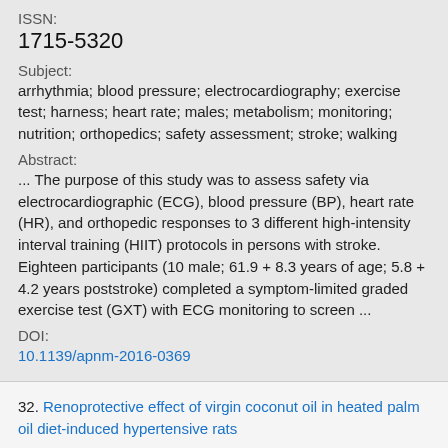ISSN:
1715-5320
Subject:
arrhythmia; blood pressure; electrocardiography; exercise test; harness; heart rate; males; metabolism; monitoring; nutrition; orthopedics; safety assessment; stroke; walking
Abstract:
... The purpose of this study was to assess safety via electrocardiographic (ECG), blood pressure (BP), heart rate (HR), and orthopedic responses to 3 different high-intensity interval training (HIIT) protocols in persons with stroke. Eighteen participants (10 male; 61.9 + 8.3 years of age; 5.8 + 4.2 years poststroke) completed a symptom-limited graded exercise test (GXT) with ECG monitoring to screen ...
DOI:
10.1139/apnm-2016-0369
32. Renoprotective effect of virgin coconut oil in heated palm oil diet-induced hypertensive rats